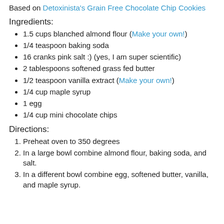Based on Detoxinista's Grain Free Chocolate Chip Cookies
Ingredients:
1.5 cups blanched almond flour (Make your own!)
1/4 teaspoon baking soda
16 cranks pink salt :) (yes, I am super scientific)
2 tablespoons softened grass fed butter
1/2 teaspoon vanilla extract (Make your own!)
1/4 cup maple syrup
1 egg
1/4 cup mini chocolate chips
Directions:
Preheat oven to 350 degrees
In a large bowl combine almond flour, baking soda, and salt.
In a different bowl combine egg, softened butter, vanilla, and maple syrup.